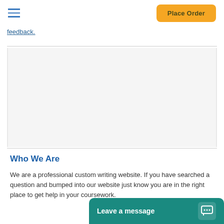Place Order
feedback.
Who We Are
We are a professional custom writing website. If you have searched a question and bumped into our website just know you are in the right place to get help in your coursework.
Do you handle any